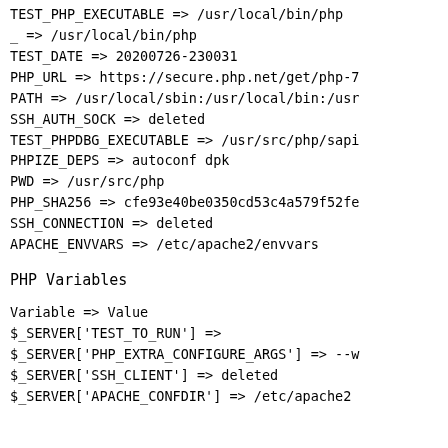TEST_PHP_EXECUTABLE => /usr/local/bin/php
_ => /usr/local/bin/php
TEST_DATE => 20200726-230031
PHP_URL => https://secure.php.net/get/php-7
PATH => /usr/local/sbin:/usr/local/bin:/usr
SSH_AUTH_SOCK => deleted
TEST_PHPDBG_EXECUTABLE => /usr/src/php/sapi
PHPIZE_DEPS => autoconf                    dpk
PWD => /usr/src/php
PHP_SHA256 => cfe93e40be0350cd53c4a579f52fe
SSH_CONNECTION => deleted
APACHE_ENVVARS => /etc/apache2/envvars
PHP Variables
Variable => Value
$_SERVER['TEST_TO_RUN'] =>
$_SERVER['PHP_EXTRA_CONFIGURE_ARGS'] => --w
$_SERVER['SSH_CLIENT'] => deleted
$_SERVER['APACHE_CONFDIR'] => /etc/apache2